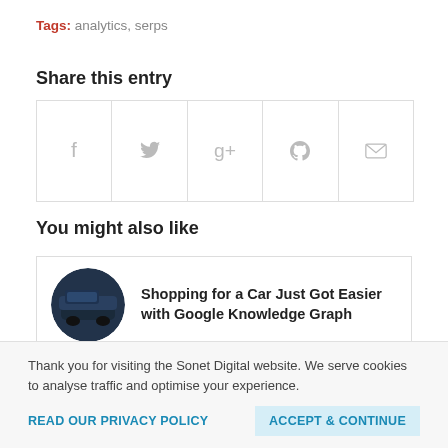Tags: analytics, serps
Share this entry
[Figure (other): Social share buttons row with icons for Facebook, Twitter, Google+, Pinterest, and Email]
You might also like
Shopping for a Car Just Got Easier with Google Knowledge Graph
Refresh Your E-Commerce Marketing
Thank you for visiting the Sonet Digital website. We serve cookies to analyse traffic and optimise your experience.
READ OUR PRIVACY POLICY
ACCEPT & CONTINUE